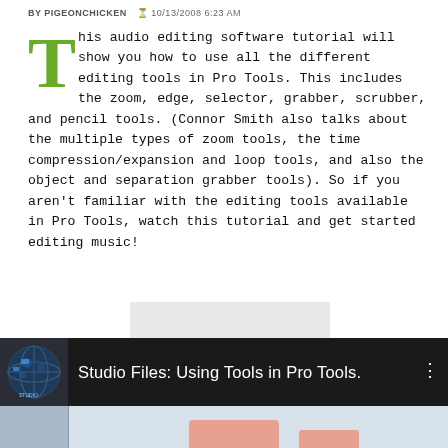BY PIGEONCHICKEN   10/13/2008 6:23 AM
This audio editing software tutorial will show you how to use all the different editing tools in Pro Tools. This includes the zoom, edge, selector, grabber, scrubber, and pencil tools. (Connor Smith also talks about the multiple types of zoom tools, the time compression/expansion and loop tools, and also the object and separation grabber tools). So if you aren't familiar with the editing tools available in Pro Tools, watch this tutorial and get started editing music!
[Figure (screenshot): Gray advertisement placeholder block]
[Figure (screenshot): Video player thumbnail showing Studio Files: Using Tools in Pro Tools. Dark background with globe icon and video title text.]
[Figure (screenshot): Screenshot of Pro Tools software interface showing audio tracks]